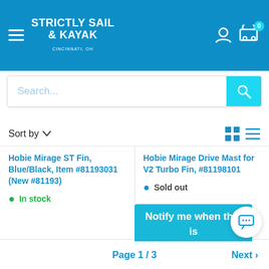STRICTLY SAIL & KAYAK CINCINNATI, OH
Search...
Sort by
Hobie Mirage ST Fin, Blue/Black, Item #81193031 (New #81193)
In stock
Hobie Mirage Drive Mast for V2 Turbo Fin, #81198101
Sold out
Notify me when this is available.
Page 1 / 3   Next >